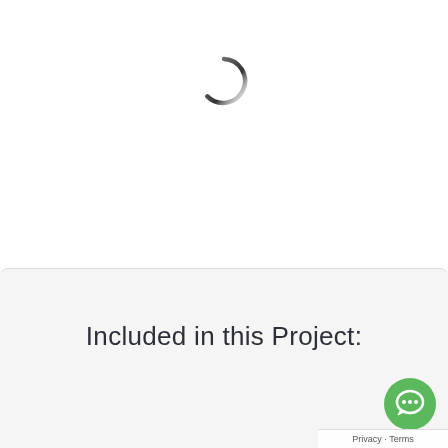[Figure (other): Circular loading spinner icon, dark gray arc on white background]
Included in this Project:
[Figure (other): Green circular chat/message bubble button with speech bubble icon]
Privacy · Terms